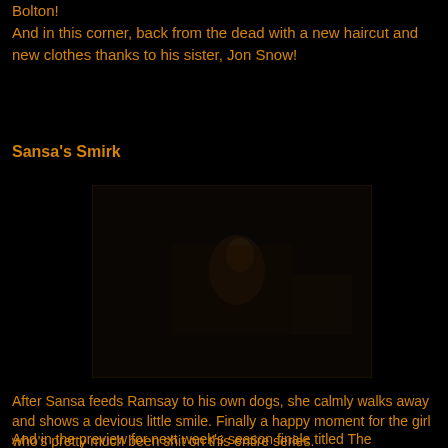Bolton!
And in this corner, back from the dead with a new haircut and new clothes thanks to his sister, Jon Snow!
Sansa's Smirk
[Figure (photo): Dark scene showing a figure (Sansa) in dim lighting, barely visible against a very dark background]
After Sansa feeds Ramsay to his own dogs, she calmly walks away and shows a devious little smile. Finally a happy moment for the girl who's pretty much been shit on this entire series.
And in the preview for next week's season finale titled The